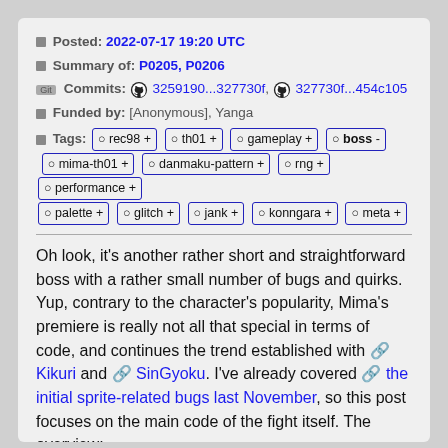Posted: 2022-07-17 19:20 UTC
Summary of: P0205, P0206
Commits: 3259190...327730f, 327730f...454c105
Funded by: [Anonymous], Yanga
Tags: ○ rec98 + ○ th01 + ○ gameplay + ○ boss - ○ mima-th01 + ○ danmaku-pattern + ○ rng + ○ performance + ○ palette + ○ glitch + ○ jank + ○ konngara + ○ meta +
Oh look, it's another rather short and straightforward boss with a rather small number of bugs and quirks. Yup, contrary to the character's popularity, Mima's premiere is really not all that special in terms of code, and continues the trend established with 🔗 Kikuri and 🔗 SinGyoku. I've already covered 🔗 the initial sprite-related bugs last November, so this post focuses on the main code of the fight itself. The overview: